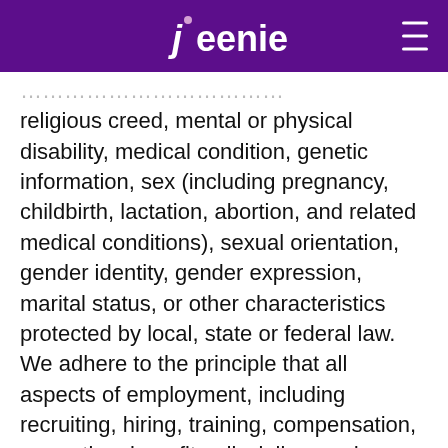Jeenie
religious creed, mental or physical disability, medical condition, genetic information, sex (including pregnancy, childbirth, lactation, abortion, and related medical conditions), sexual orientation, gender identity, gender expression, marital status, or other characteristics protected by local, state or federal law. We adhere to the principle that all aspects of employment, including recruiting, hiring, training, compensation, promotion, benefits, discipline, and discharge be based on merit, performance, competence, or business needs.